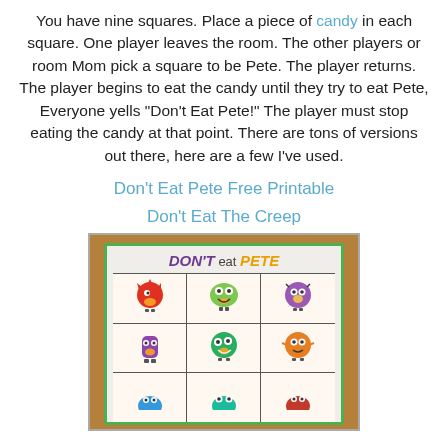You have nine squares. Place a piece of candy in each square. One player leaves the room. The other players or room Mom pick a square to be Pete. The player returns. The player begins to eat the candy until they try to eat Pete, Everyone yells "Don't Eat Pete!" The player must stop eating the candy at that point. There are tons of versions out there, here are a few I've used.
Don't Eat Pete Free Printable
Don't Eat The Creep
[Figure (photo): A photograph of a 'Don't Eat Pete' game board printed on paper, showing a 3x3 grid with cartoon monster characters in each square. The header reads 'DON'T eat PETE' with colorful monster illustrations.]